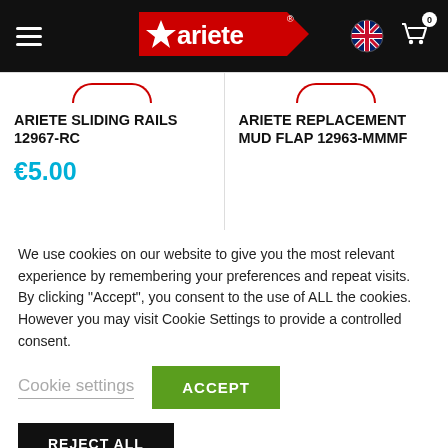Ariete — navigation header with logo, language selector, and cart
ARIETE SLIDING RAILS 12967-RC
€5.00
ARIETE REPLACEMENT MUD FLAP 12963-MMMF
We use cookies on our website to give you the most relevant experience by remembering your preferences and repeat visits. By clicking "Accept", you consent to the use of ALL the cookies. However you may visit Cookie Settings to provide a controlled consent.
Cookie settings
ACCEPT
REJECT ALL